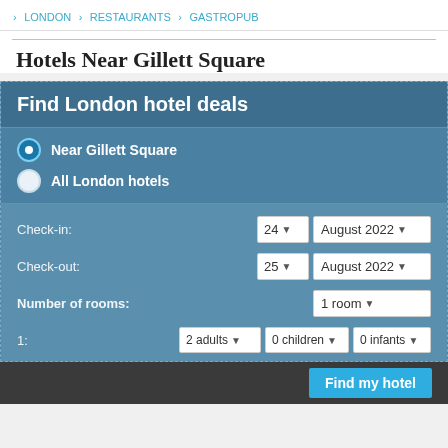> LONDON > RESTAURANTS > GASTROPUB
Hotels Near Gillett Square
Find London hotel deals
Near Gillett Square
All London hotels
Check-in: 24 August 2022
Check-out: 25 August 2022
Number of rooms: 1 room
1: 2 adults 0 children 0 infants
Find my hotel